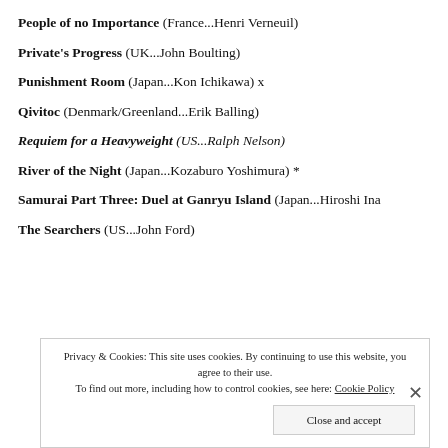People of no Importance (France...Henri Verneuil)
Private's Progress (UK...John Boulting)
Punishment Room (Japan...Kon Ichikawa) x
Qivitoc (Denmark/Greenland...Erik Balling)
Requiem for a Heavyweight (US...Ralph Nelson)
River of the Night (Japan...Kozaburo Yoshimura) *
Samurai Part Three: Duel at Ganryu Island (Japan...Hiroshi Ina
The Searchers (US...John Ford)
Privacy & Cookies: This site uses cookies. By continuing to use this website, you agree to their use. To find out more, including how to control cookies, see here: Cookie Policy